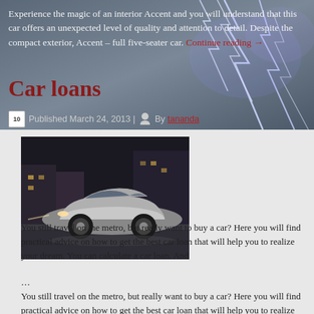Experience the magic of an interior Accent and you will understand that this car offers an unexpected level of quality and attention to detail. Despite the compact exterior, Accent – full five-seater car. Continue reading →
Car loans
Published March 24, 2013 | By tananda
[Figure (photo): A silver/white luxury car parked on a city street at night, viewed from the side/front angle. Street lights and brick buildings visible in background.]
You still travel on the metro, but really want to buy a car? Here you will find practical advice on how to get the best car loan that will help you to realize your dream. You can calculate a car loan. And

…
You still travel on the metro, but really want to buy a car? Here you will find practical advice on how to get the best car loan that will help you to realize your dream. You can calculate a car loan. While deciding to get a car loan you can choose a Bank where it can be issued.